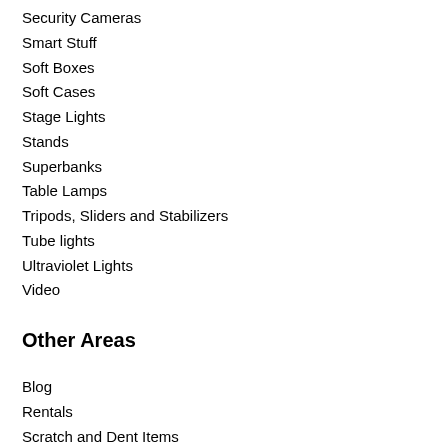Security Cameras
Smart Stuff
Soft Boxes
Soft Cases
Stage Lights
Stands
Superbanks
Table Lamps
Tripods, Sliders and Stabilizers
Tube lights
Ultraviolet Lights
Video
Other Areas
Blog
Rentals
Scratch and Dent Items